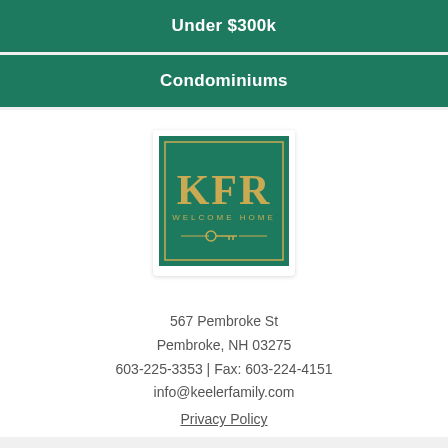Under $300k
Condominiums
[Figure (logo): KFR Welcome Home logo — dark green square with gold KFR letters, 'WELCOME HOME' text, and a key icon]
567 Pembroke St
Pembroke, NH 03275
603-225-3353 | Fax: 603-224-4151
info@keelerfamily.com
Privacy Policy